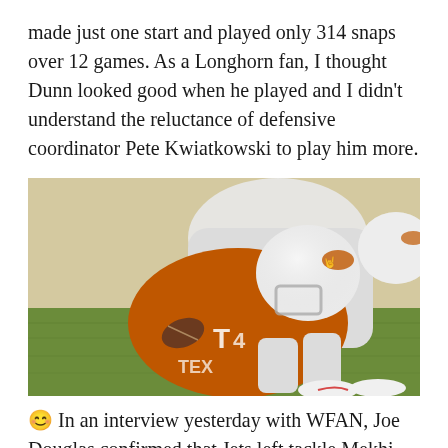made just one start and played only 314 snaps over 12 games. As a Longhorn fan, I thought Dunn looked good when he played and I didn't understand the reluctance of defensive coordinator Pete Kwiatkowski to play him more.
[Figure (photo): Football player in Texas Longhorns orange jersey number 4 and white helmet making a tackle or being tackled on a grass field. Another player in white uniform visible at right edge.]
😊 In an interview yesterday with WFAN, Joe Douglas confirmed that Jets left tackle Mekhi Becton is still